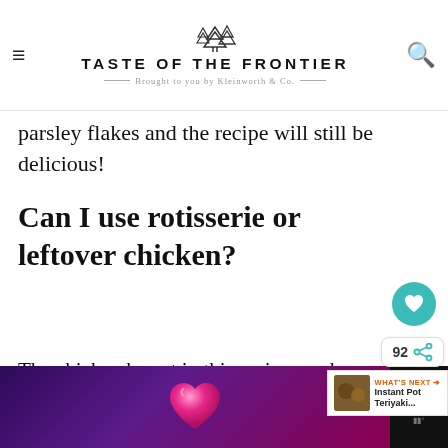TASTE OF THE FRONTIER — Brought to you by Kleinworth & Co.
parsley flakes and the recipe will still be delicious!
Can I use rotisserie or leftover chicken?
The chicken breast in this recipe can be substituted leftover rotisserie chicken– just skip steps 1-4 and go straight to combining all of the ingredients until melted.
[Figure (other): Bottom advertisement bar with pink heart on purple gradient background and close button]